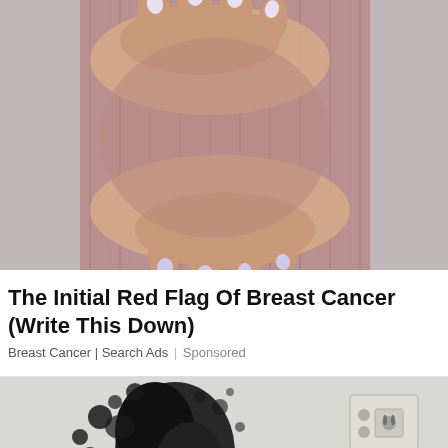[Figure (photo): Close-up photo of a woman's hands with white/lavender painted nails holding her chest/breast area over a ribbed mauve/pink top, medical self-examination context]
The Initial Red Flag Of Breast Cancer (Write This Down)
Breast Cancer | Search Ads | Sponsored
[Figure (photo): Photo of a wall with black mold splattered across it near a power outlet, with cleaning spray bottles visible at the bottom]